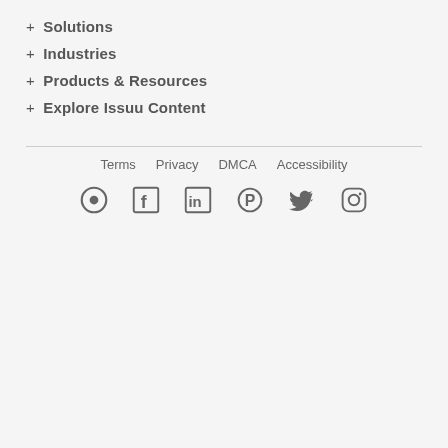+ Solutions
+ Industries
+ Products & Resources
+ Explore Issuu Content
Terms  Privacy  DMCA  Accessibility
[Figure (other): Social media icons: Issuu, Facebook, LinkedIn, Pinterest, Twitter, Instagram]